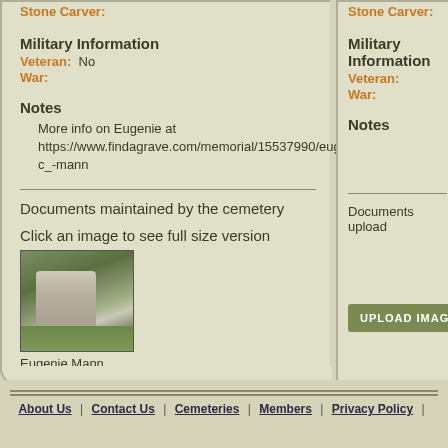Stone Carver:
Military Information
Veteran: No
War:
Notes
More info on Eugenie at https://www.findagrave.com/memorial/15537990/eugenie-c_-mann
Documents maintained by the cemetery
Click an image to see full size version
[Figure (photo): Thumbnail photo of a weathered gravestone in grass]
Eugenie Mann
Stone Carver:
Military Information
Veteran:
War:
Notes
Documents uploaded
UPLOAD IMAGE
About Us | Contact Us | Cemeteries | Members | Privacy Policy |